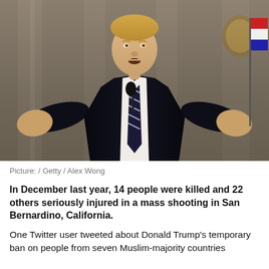[Figure (photo): A man in a dark suit with a striped tie stands at a podium with a presidential seal, gesturing with both hands raised, speaking at a microphone. Background shows ornate columns.]
Picture: / Getty / Alex Wong
In December last year, 14 people were killed and 22 others seriously injured in a mass shooting in San Bernardino, California.
One Twitter user tweeted about Donald Trump's temporary ban on people from seven Muslim-majority countries